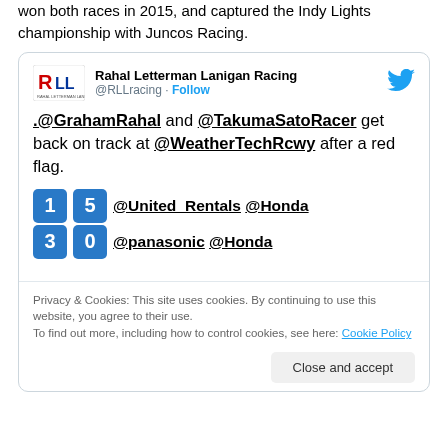won both races in 2015, and captured the Indy Lights championship with Juncos Racing.
[Figure (screenshot): Embedded tweet from Rahal Letterman Lanigan Racing (@RLLracing) showing Graham Rahal and Takuma Sato Racer getting back on track at WeatherTech Raceway after a red flag, with car numbers 15 and 30 referencing United Rentals Honda and panasonic Honda.]
Privacy & Cookies: This site uses cookies. By continuing to use this website, you agree to their use. To find out more, including how to control cookies, see here: Cookie Policy